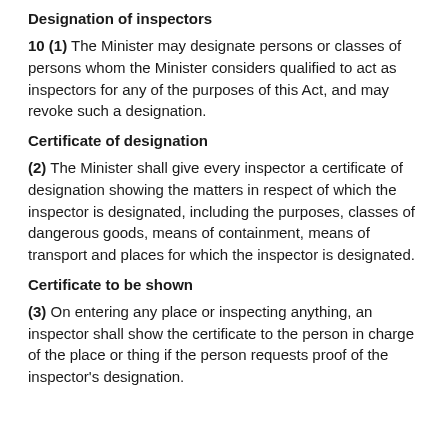Designation of inspectors
10 (1) The Minister may designate persons or classes of persons whom the Minister considers qualified to act as inspectors for any of the purposes of this Act, and may revoke such a designation.
Certificate of designation
(2) The Minister shall give every inspector a certificate of designation showing the matters in respect of which the inspector is designated, including the purposes, classes of dangerous goods, means of containment, means of transport and places for which the inspector is designated.
Certificate to be shown
(3) On entering any place or inspecting anything, an inspector shall show the certificate to the person in charge of the place or thing if the person requests proof of the inspector's designation.